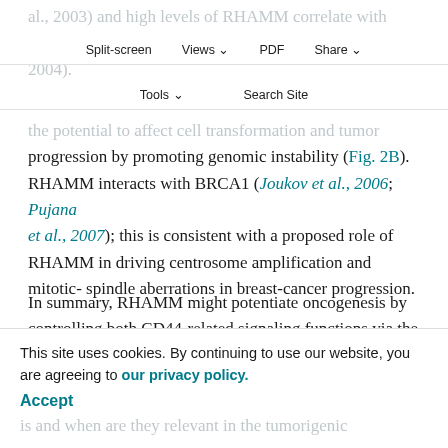al., 2003) and high levels of RHAMM correlate with genomic instability in multiple myeloma (Maxwell et al., 2004).
Split-screen | Views | PDF | Share | Tools | Search Site
RHAMM–centrosome mitotic-spindle associations have the potential to affect cell transformation and tumor progression by promoting genomic instability (Fig. 2B). RHAMM interacts with BRCA1 (Joukov et al., 2006; Pujana et al., 2007); this is consistent with a proposed role of RHAMM in driving centrosome amplification and mitotic-spindle aberrations in breast-cancer progression.
In summary, RHAMM might potentiate oncogenesis by controlling both CD44-related signaling functions via the tumor microenvironment (Fig. 2A) and BRCA1-related
functions for controlling genome integrity (Fig. 2B). RHAMM might regulate
and when are they relevant in the tumorigenic
This site uses cookies. By continuing to use our website, you are agreeing to our privacy policy. Accept